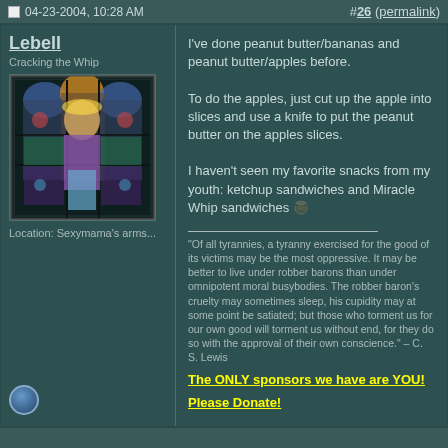04-23-2004, 10:28 AM   #26 (permalink)
Lebell
Cracking the Whip
[Figure (illustration): Stained glass style illustration of a figure]
Location: Sexymama's arms...
I've done peanut butter/bananas and peanut butter/apples before.

To do the apples, just cut up the apple into slices and use a knife to put the peanut butter on the apples slices.

I haven't seen my favorite snacks from my youth: ketchup sandwiches and Miracle Whip sandwiches 🎩
"Of all tyrannies, a tyranny exercised for the good of its victims may be the most oppressive. It may be better to live under robber barons than under omnipotent moral busybodies. The robber baron's cruelty may sometimes sleep, his cupidity may at some point be satiated; but those who torment us for our own good will torment us without end, for they do so with the approval of their own conscience." – C. S. Lewis
The ONLY sponsors we have are YOU!
Please Donate!